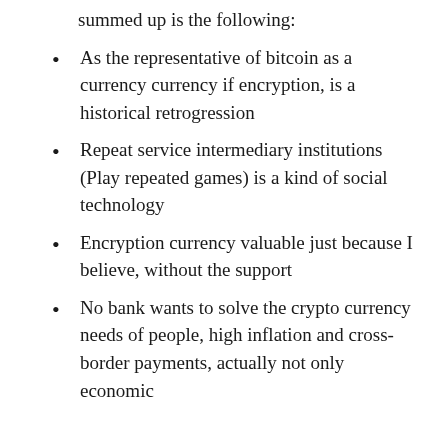summed up is the following:
As the representative of bitcoin as a currency currency if encryption, is a historical retrogression
Repeat service intermediary institutions (Play repeated games) is a kind of social technology
Encryption currency valuable just because I believe, without the support
No bank wants to solve the crypto currency needs of people, high inflation and cross-border payments, actually not only economic